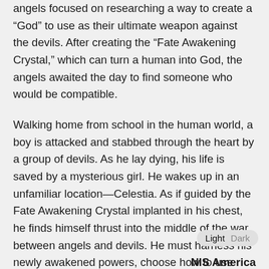angels focused on researching a way to create a “God” to use as their ultimate weapon against the devils. After creating the “Fate Awakening Crystal,” which can turn a human into God, the angels awaited the day to find someone who would be compatible.
Walking home from school in the human world, a boy is attacked and stabbed through the heart by a group of devils. As he lay dying, his life is saved by a mysterious girl. He wakes up in an unfamiliar location—Celestia. As if guided by the Fate Awakening Crystal implanted in his chest, he finds himself thrust into the middle of the war between angels and devils. He must harness his newly awakened powers, choose how to use them, and ultimately decide which of the two new girls in his life he will do anything to save.
NIS America